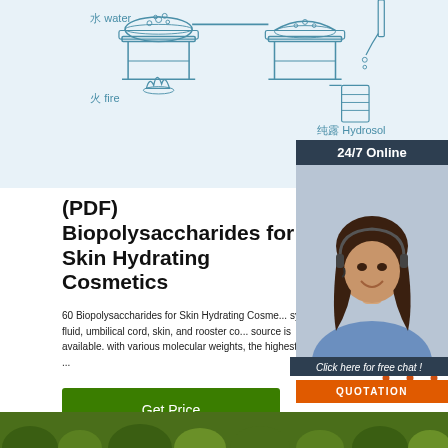[Figure (illustration): Chinese-labeled diagram of a distillation/hydrosol process with icons for water (水 water), fire (火 fire), and hydrosol (纯露 Hydrosol) on a light blue background]
24/7 Online
[Figure (photo): Photo of a smiling woman with a headset]
Click here for free chat !
QUOTATION
(PDF) Biopolysaccharides for Skin Hydrating Cosmetics
60 Biopolysaccharides for Skin Hydrating Cosme... synovial fluid, umbilical cord, skin, and rooster co... source is available. with various molecular weights, the highest being ...
Get Price
[Figure (logo): Orange dotted triangle TOP logo]
[Figure (photo): Green plant/nature image at bottom]